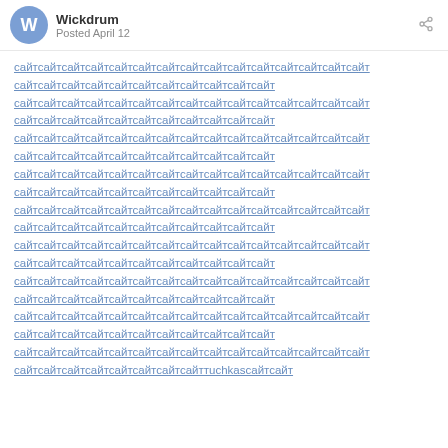Wickdrum · Posted April 12
сайтсайтсайтсайтсайтсайтсайтсайтсайтсайтсайтсайтсайтсайтсайтсайтсайтсайтсайтсайтсайтсайтсайтсайтсайтсайтсайтсайтсайтсайтсайтсайтсайтсайтсайтсайтсайтсайтсайтсайтсайтсайтсайтсайтсайтсайтсайтсайтсайтсайтсайтсайтсайтсайтсайтсайтсайтсайтсайтсайтсайтсайтсайтсайтсайтсайтсайтсайтсайтсайтсайтсайтсайтсайтсайтсайтсайтсайтсайтсайтсайтсайтсайтсайтсайтсайтсайтсайтсайтсайтсайтсайтсайтсайтсайтсайтсайтсайтсайтсайтсайтсайтсайтсайтсайтсайтсайтсайтсайтсайтсайтсайтсайтtuchkasсайтсайт